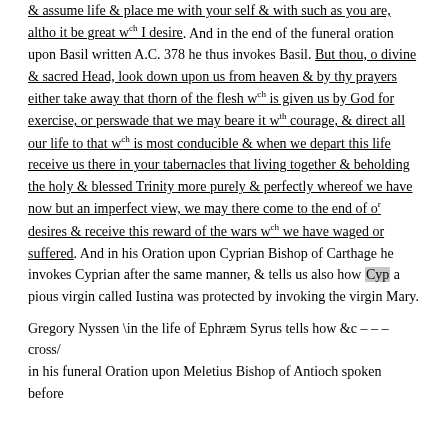& assume life & place me with your self & with such as you are, altho it be great w^ch I desire. And in the end of the funeral oration upon Basil written A.C. 378 he thus invokes Basil. But thou, o divine & sacred Head, look down upon us from heaven & by thy prayers either take away that thorn of the flesh w^ch is given us by God for exercise, or perswade that we may beare it w^th courage, & direct all our life to that w^ch is most conducible & when we depart this life receive us there in your tabernacles that living together & beholding the holy & blessed Trinity more purely & perfectly whereof we have now but an imperfect view, we may there come to the end of o^r desires & receive this reward of the wars w^ch we have waged or suffered. And in his Oration upon Cyprian Bishop of Carthage he invokes Cyprian after the same manner, & tells us also how Cyp a pious virgin called Iustina was protected by invoking the virgin Mary.
Gregory Nyssen \in the life of Ephraem Syrus tells how &c – – – cross/ in his funeral Oration upon Meletius Bishop of Antioch spoken before